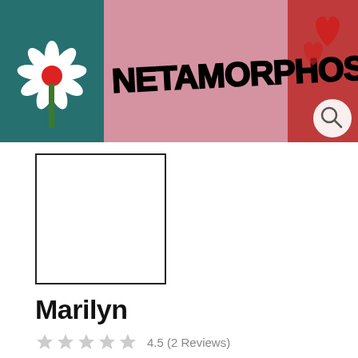[Figure (photo): Graffiti wall banner reading NETAMORPHOSIS in large black graffiti letters on a pink background, with a white daisy flower with red center on the left side and red heart shapes on the right. A white circular search icon button overlays the bottom-right corner.]
[Figure (photo): Small product thumbnail image box with a black border, white interior (product image not fully loaded or blank).]
Marilyn
4.5 (2 Reviews)
€ 15
Tax included.
8 in stock
SIZE